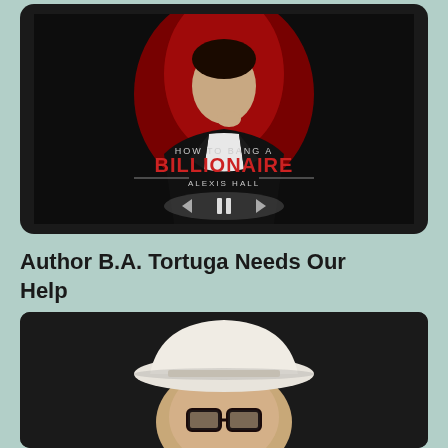[Figure (photo): Book cover and audio player for 'How to Bang a Billionaire' by Alexis Hall, showing a man in a dark suit against a red and black background with playback controls]
Author B.A. Tortuga Needs Our Help
[Figure (photo): Portrait photo of a person wearing a white cowboy hat and black-rimmed glasses, photographed against a dark background]